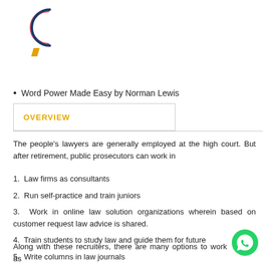[Figure (logo): Circular logo with pink and dark blue arc forming a C shape, with an orange diagonal parallelogram shape below]
Word Power Made Easy by Norman Lewis
OVERVIEW
The people's lawyers are generally employed at the high court. But after retirement, public prosecutors can work in
1. Law firms as consultants
2. Run self-practice and train juniors
3. Work in online law solution organizations wherein based on customer request law advice is shared.
4. Train students to study law and guide them for future
5. Write columns in law journals
Along with these recruiters, there are many options to work as